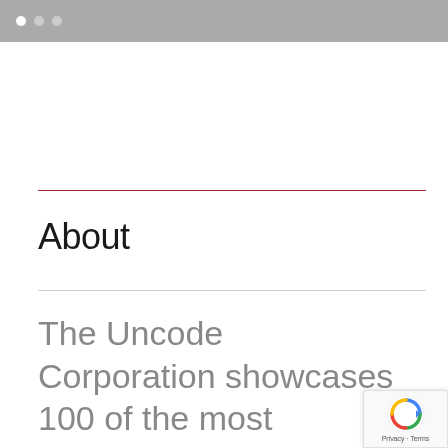[Figure (screenshot): Browser window top bar with three dots (white, light gray, light gray) on a gray background]
About
The Uncode Corporation showcases 100 of the most